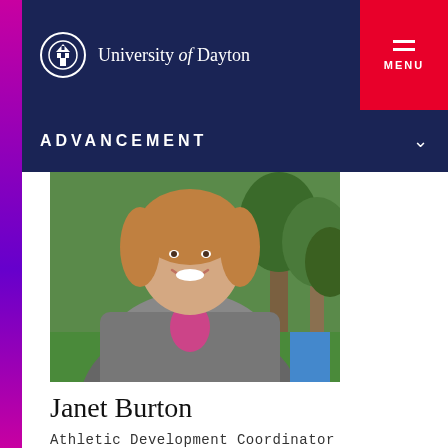University of Dayton
ADVANCEMENT
[Figure (photo): Professional headshot of Janet Burton outdoors, wearing a grey blazer, smiling, with green trees in background]
Janet Burton
Athletic Development Coordinator
Read more →